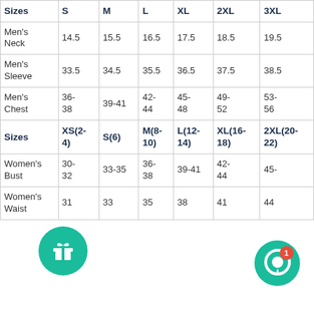| Sizes | S | M | L | XL | 2XL | 3XL |
| --- | --- | --- | --- | --- | --- | --- |
| Men's Neck | 14.5 | 15.5 | 16.5 | 17.5 | 18.5 | 19.5 |
| Men's Sleeve | 33.5 | 34.5 | 35.5 | 36.5 | 37.5 | 38.5 |
| Men's Chest | 36-38 | 39-41 | 42-44 | 45-48 | 49-52 | 53-56 |
| Sizes | XS(2-4) | S(6) | M(8-10) | L(12-14) | XL(16-18) | 2XL(20-22) |
| Women's Bust | 30-32 | 33-35 | 36-38 | 39-41 | 42-44 | 45- |
| Women's Waist | 31 | 33 | 35 | 38 | 41 | 44 |